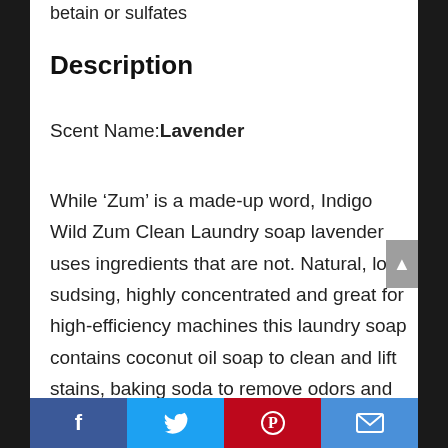betain or sulfates
Description
Scent Name:​Lavender
While ‘Zum’ is a made-up word, Indigo Wild Zum Clean Laundry soap lavender uses ingredients that are not. Natural, low-sudsing, highly concentrated and great for high-efficiency machines this laundry soap contains coconut oil soap to clean and lift stains, baking soda to remove odors and
Social share bar: Facebook, Twitter, Pinterest, Email